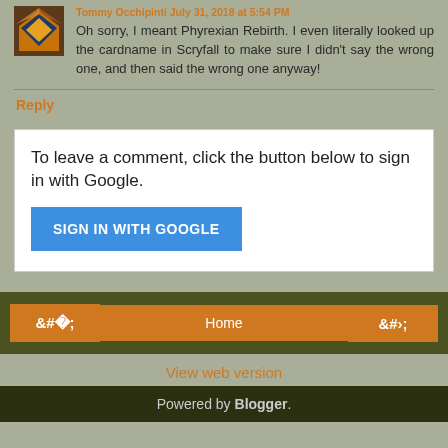Tommy Occhipinti July 31, 2018 at 5:54 PM
Oh sorry, I meant Phyrexian Rebirth. I even literally looked up the cardname in Scryfall to make sure I didn't say the wrong one, and then said the wrong one anyway!
Reply
To leave a comment, click the button below to sign in with Google.
SIGN IN WITH GOOGLE
‹
Home
›
View web version
Powered by Blogger.